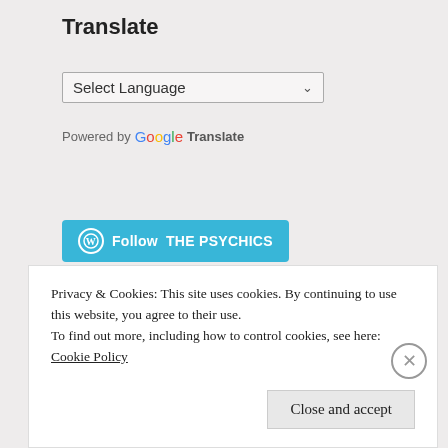Translate
[Figure (screenshot): A 'Select Language' dropdown widget with a down-arrow, styled with a light border on a grey background.]
Powered by Google Translate
[Figure (screenshot): A blue WordPress-style 'Follow THE PSYCHICS' button with a circular WP icon on the left.]
Advertisements
Business in
Privacy & Cookies: This site uses cookies. By continuing to use this website, you agree to their use.
To find out more, including how to control cookies, see here: Cookie Policy
Close and accept